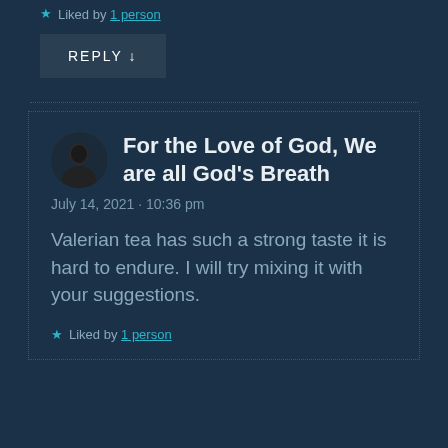Liked by 1 person
REPLY ↓
For the Love of God, We are all God's Breath
July 14, 2021 · 10:36 pm
Valerian tea has such a strong taste it is hard to endure. I will try mixing it with your suggestions.
Liked by 1 person